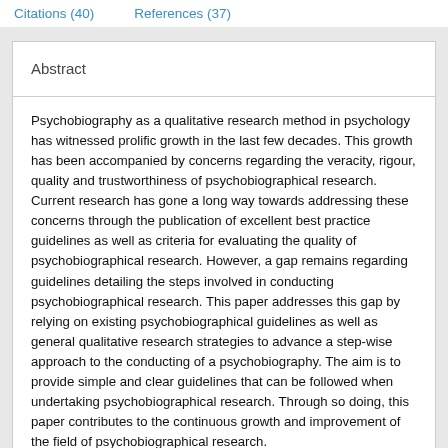Citations (40)    References (37)
Abstract
Psychobiography as a qualitative research method in psychology has witnessed prolific growth in the last few decades. This growth has been accompanied by concerns regarding the veracity, rigour, quality and trustworthiness of psychobiographical research. Current research has gone a long way towards addressing these concerns through the publication of excellent best practice guidelines as well as criteria for evaluating the quality of psychobiographical research. However, a gap remains regarding guidelines detailing the steps involved in conducting psychobiographical research. This paper addresses this gap by relying on existing psychobiographical guidelines as well as general qualitative research strategies to advance a step-wise approach to the conducting of a psychobiography. The aim is to provide simple and clear guidelines that can be followed when undertaking psychobiographical research. Through so doing, this paper contributes to the continuous growth and improvement of the field of psychobiographical research.